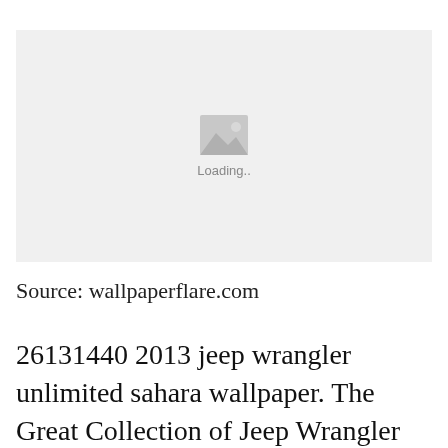[Figure (photo): Image loading placeholder with a grey background, image icon, and 'Loading..' text]
Source: wallpaperflare.com
26131440 2013 jeep wrangler unlimited sahara wallpaper. The Great Collection of Jeep Wrangler Wallpaper for Desktop